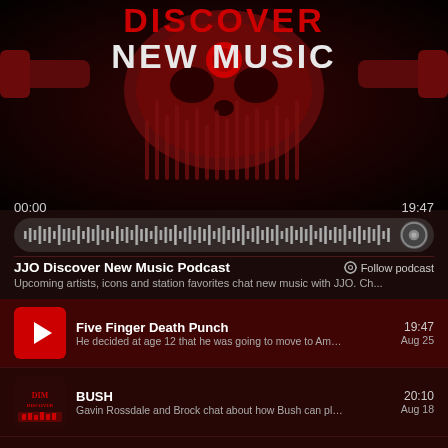[Figure (illustration): JJO Discover New Music Podcast banner with dark red/black background, skull-like logo, text 'DISCOVER NEW MUSIC' in bold white/red lettering with vertical audio waveform bars behind]
00:00
19:47
[Figure (other): Audio waveform progress bar, grey bars on dark rounded background, with a speaker/circle icon on the right]
JJO Discover New Music Podcast
Follow podcast
Upcoming artists, icons and station favorites chat new music with JJO. Ch...
Five Finger Death Punch | 19:47 | Aug 25 | He decided at age 12 that he was going to move to Am...
BUSH | 20:10 | Aug 18 | Gavin Rossdale and Brock chat about how Bush can pl...
I Prevail | 14:05 | Aug 11 | Brian tells us how their latest release was ready when ...
Saint Asonia | 11:48